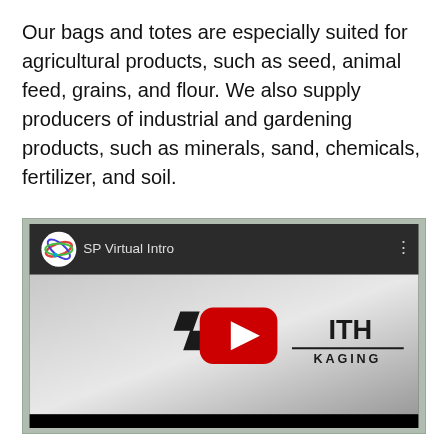Our bags and totes are especially suited for agricultural products, such as seed, animal feed, grains, and flour. We also supply producers of industrial and gardening products, such as minerals, sand, chemicals, fertilizer, and soil.
[Figure (screenshot): YouTube video embed thumbnail showing 'SP Virtual Intro' with Smith Packaging logo and YouTube play button]